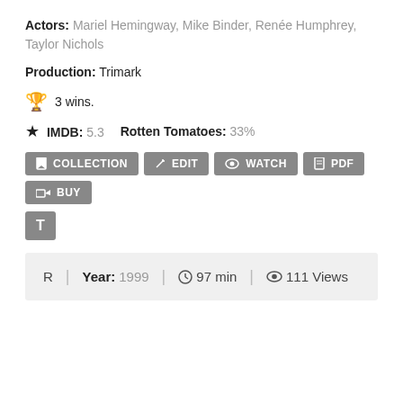Actors: Mariel Hemingway, Mike Binder, Renée Humphrey, Taylor Nichols
Production: Trimark
🏆 3 wins.
★ IMDB: 5.3  Rotten Tomatoes: 33%
Buttons: COLLECTION, EDIT, WATCH, PDF, BUY, T
R | Year: 1999 | ⏱ 97 min | 👁 111 Views